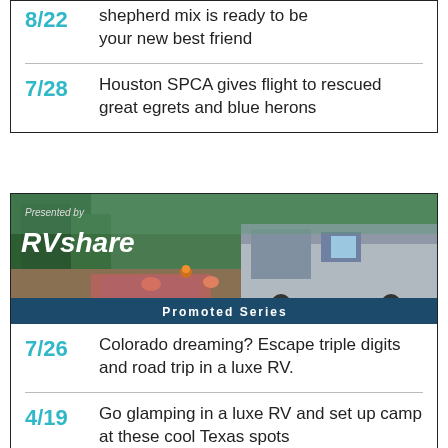shepherd mix is ready to be your new best friend
7/28 Houston SPCA gives flight to rescued great egrets and blue herons
[Figure (illustration): RVshare Promoted Series banner showing aerial view of RV camping scene with trees and fire pit. Text: 'Presented by RVshare' and 'Promoted Series']
7/26 Colorado dreaming? Escape triple digits and road trip in a luxe RV.
4/19 Go glamping in a luxe RV and set up camp at these cool Texas spots